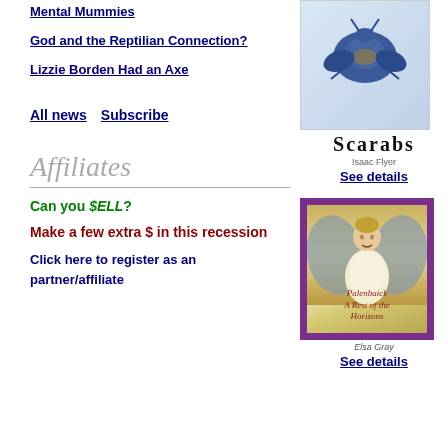Mental Mummies
God and the Reptilian Connection?
Lizzie Borden Had an Axe
All news   Subscribe
Affiliates
Can you $ELL?
Make a few extra $ in this recession
Click here to register as an partner/affiliate
[Figure (photo): Book cover for Scarabs by Isaac Flyer, showing a blue stone scarab beetle on a white background with stylized title text]
See details
[Figure (photo): Book cover for Palenbaick Rest of the Horizons by Elsa Gray, showing an angel figurine in gold and white dress with wings, on purple background]
See details